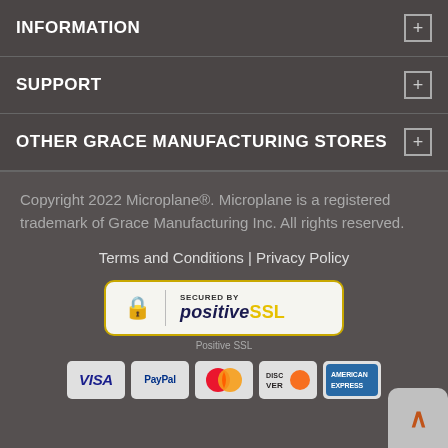INFORMATION
SUPPORT
OTHER GRACE MANUFACTURING STORES
Copyright 2022 Microplane®. Microplane is a registered trademark of Grace Manufacturing Inc. All rights reserved.
Terms and Conditions | Privacy Policy
[Figure (logo): Secured by Positive SSL badge with lock icon and yellow border]
Positive SSL
[Figure (illustration): Payment method icons: VISA, PayPal, MasterCard, Discover, American Express]